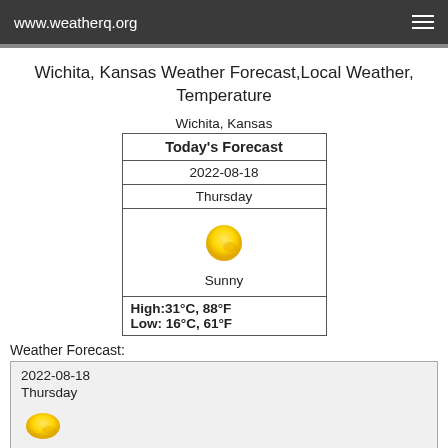www.weatherq.org
Wichita, Kansas Weather Forecast,Local Weather, Temperature
Wichita, Kansas
| Today's Forecast |
| 2022-08-18 |
| Thursday |
| [Sunny icon] |
| Sunny |
| High:31°C,  88°F | Low: 16°C,  61°F |
Weather Forecast:
| 2022-08-18 |
| Thursday |
| [Sunny icon] |